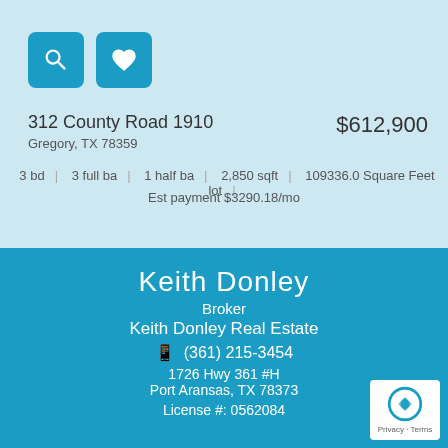[Figure (other): Two icon buttons: magnifying glass (search) and heart (favorite) on teal square backgrounds]
312 County Road 1910
Gregory, TX 78359
$612,900
3 bd | 3 full ba | 1 half ba | 2,850 sqft | 109336.0 Square Feet lot |
Est payment $3290.18/mo
Keith Donley
Broker
Keith Donley Real Estate
(361) 215-3454
1726 Hwy 361 #H
Port Aransas, TX 78373
License #: 0562084